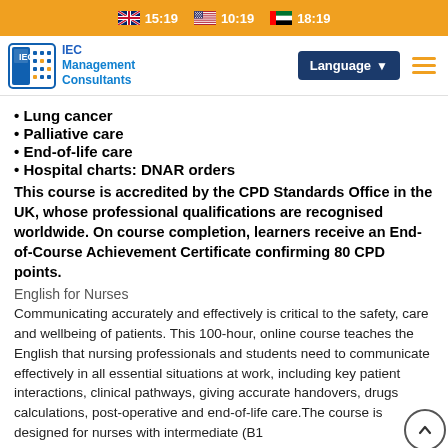🇬🇧 15:19  🇺🇸 10:19  🇦🇪 18:19
[Figure (logo): IEC Management Consultants logo with Language button and hamburger menu]
Lung cancer
Palliative care
End-of-life care
Hospital charts: DNAR orders
This course is accredited by the CPD Standards Office in the UK, whose professional qualifications are recognised worldwide. On course completion, learners receive an End-of-Course Achievement Certificate confirming 80 CPD points.
English for Nurses
Communicating accurately and effectively is critical to the safety, care and wellbeing of patients. This 100-hour, online course teaches the English that nursing professionals and students need to communicate effectively in all essential situations at work, including key patient interactions, clinical pathways, giving accurate handovers, drugs calculations, post-operative and end-of-life care.The course is designed for nurses with intermediate (B1